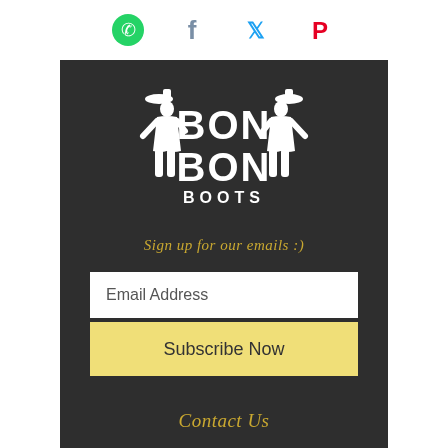[Figure (logo): Row of four social media icons: WhatsApp (green), Facebook (blue-grey), Twitter (blue), Pinterest (red)]
[Figure (logo): Bon Bon Boots logo in white on dark background, featuring silhouettes of two cowboy figures flanking bold text reading BON BON BOOTS]
Sign up for our emails :)
Email Address
Subscribe Now
Contact Us